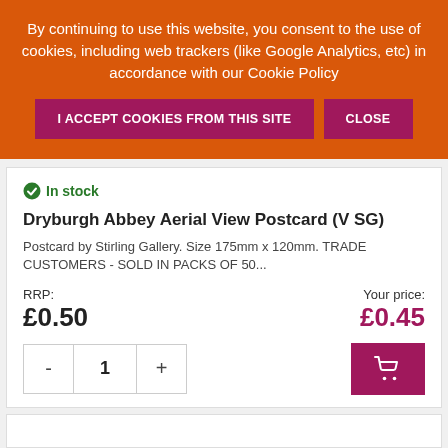By continuing to use this website, you consent to the use of cookies, including web trackers (like Google Analytics, etc) in accordance with our Cookie Policy
I ACCEPT COOKIES FROM THIS SITE
CLOSE
In stock
Dryburgh Abbey Aerial View Postcard (V SG)
Postcard by Stirling Gallery. Size 175mm x 120mm. TRADE CUSTOMERS - SOLD IN PACKS OF 50...
RRP: £0.50
Your price: £0.45